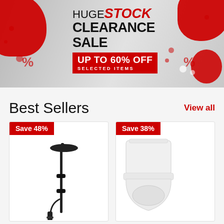[Figure (illustration): Promotional banner: HUGE STOCK CLEARANCE SALE - UP TO 60% OFF SELECTED ITEMS with red blobs and bathroom background]
Best Sellers
View all
[Figure (photo): Product card: Save 48% badge, black rain shower system with overhead round head and hand shower on rail]
[Figure (photo): Product card: Save 38% badge, white close-coupled toilet suite]